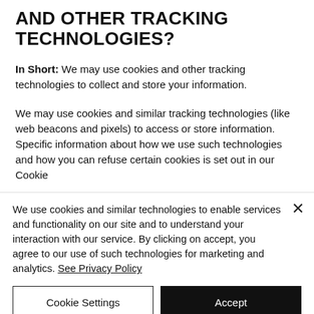AND OTHER TRACKING TECHNOLOGIES?
In Short:  We may use cookies and other tracking technologies to collect and store your information.
We may use cookies and similar tracking technologies (like web beacons and pixels) to access or store information. Specific information about how we use such technologies and how you can refuse certain cookies is set out in our Cookie
We use cookies and similar technologies to enable services and functionality on our site and to understand your interaction with our service. By clicking on accept, you agree to our use of such technologies for marketing and analytics. See Privacy Policy
Cookie Settings
Accept